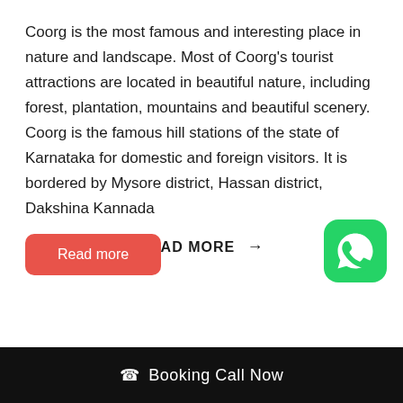Coorg is the most famous and interesting place in nature and landscape. Most of Coorg’s tourist attractions are located in beautiful nature, including forest, plantation, mountains and beautiful scenery. Coorg is the famous hill stations of the state of Karnataka for domestic and foreign visitors. It is bordered by Mysore district, Hassan district, Dakshina Kannada
READ MORE →
Read more
[Figure (logo): WhatsApp icon - green rounded square with white phone/chat bubble logo]
Booking Call Now